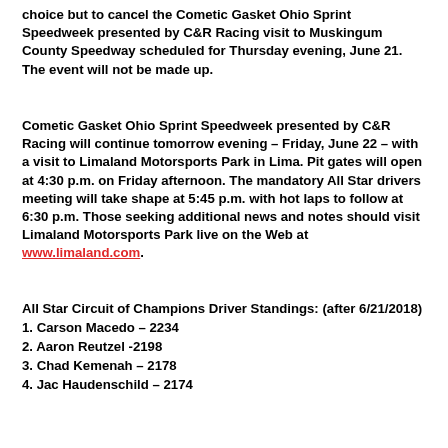choice but to cancel the Cometic Gasket Ohio Sprint Speedweek presented by C&R Racing visit to Muskingum County Speedway scheduled for Thursday evening, June 21. The event will not be made up.
Cometic Gasket Ohio Sprint Speedweek presented by C&R Racing will continue tomorrow evening – Friday, June 22 – with a visit to Limaland Motorsports Park in Lima. Pit gates will open at 4:30 p.m. on Friday afternoon. The mandatory All Star drivers meeting will take shape at 5:45 p.m. with hot laps to follow at 6:30 p.m. Those seeking additional news and notes should visit Limaland Motorsports Park live on the Web at www.limaland.com.
All Star Circuit of Champions Driver Standings: (after 6/21/2018)
1. Carson Macedo – 2234
2. Aaron Reutzel -2198
3. Chad Kemenah – 2178
4. Jac Haudenschild – 2174